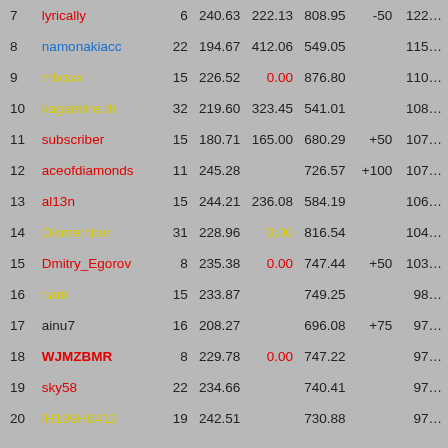| # | Name | Games | Avg1 | Avg2 | Score | Bonus | Total |
| --- | --- | --- | --- | --- | --- | --- | --- |
| 7 | lyrically | 6 | 240.63 | 222.13 | 808.95 | -50 | 122… |
| 8 | namonakiacc | 22 | 194.67 | 412.06 | 549.05 |  | 115… |
| 9 | mlxsxx | 15 | 226.52 | 0.00 | 876.80 |  | 110… |
| 10 | kagamine.rh | 32 | 219.60 | 323.45 | 541.01 |  | 108… |
| 11 | subscriber | 15 | 180.71 | 165.00 | 680.29 | +50 | 107… |
| 12 | aceofdiamonds | 11 | 245.28 |  | 726.57 | +100 | 107… |
| 13 | al13n | 15 | 244.21 | 236.08 | 584.19 |  | 106… |
| 14 | Dismember | 31 | 228.96 | 0.00 | 816.54 |  | 104… |
| 15 | Dmitry_Egorov | 8 | 235.38 | 0.00 | 747.44 | +50 | 103… |
| 16 | nam | 15 | 233.87 |  | 749.25 |  | 98… |
| 17 | ainu7 | 16 | 208.27 |  | 696.08 | +75 | 97… |
| 18 | WJMZBMR | 8 | 229.78 | 0.00 | 747.22 |  | 97… |
| 19 | sky58 | 22 | 234.66 |  | 740.41 |  | 97… |
| 20 | lH199H0412 | 19 | 242.51 |  | 730.88 |  | 97… |